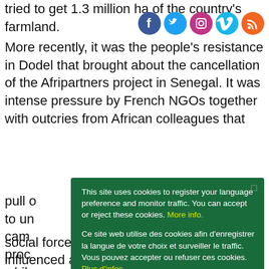tried to get 1.3 million ha of the country's farmland.
More recently, it was the people's resistance in Dodel that brought about the cancellation of the Afripartners project in Senegal. It was intense pressure by French NGOs together with outcries from African colleagues that pull to un cam prod while Dom In M deal apa mov social force in the country and that has influenced a
This site uses cookies to register your language preference and monitor traffic. You can accept or reject these cookies. More info.

Ce site web utilise des cookies afin d'enregistrer la langue de votre choix et surveiller le traffic. Vous pouvez accepter ou refuser ces cookies. Plus d'infos.

Este sitio web utiliza cookies con el objetivo de registrar su idioma preferido y controlar el tráfico. Puede aceptar o rechazar estas cookies. Mayor información.